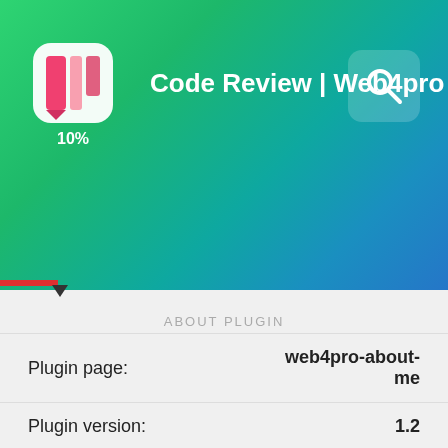[Figure (screenshot): App header with gradient green-to-blue background, a pencil/marker app icon with '10%' label, title 'Code Review | Web4pro ...', and a search icon button on the right]
[Figure (other): Red progress bar at 10% with a black downward triangle marker]
ABOUT PLUGIN
| Plugin page: | web4pro-about-me |
| Plugin version: | 1.2 |
| PHP version: | 7.4.16 |
| WordPress compatibility: | 3.5.1-4.6 |
| WordPress version: | 5.8.1 |
| First release: | Sep 5, 2014 |